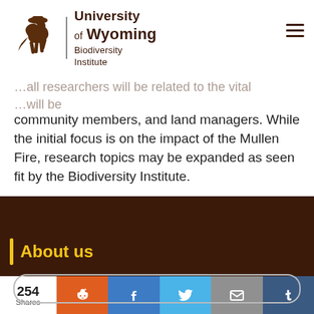University of Wyoming Biodiversity Institute
community members, and land managers. While the initial focus is on the impact of the Mullen Fire, research topics may be expanded as seen fit by the Biodiversity Institute.
About us
254 Shares